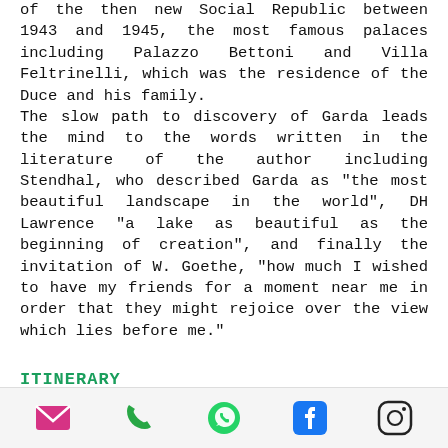of the then new Social Republic between 1943 and 1945, the most famous palaces including Palazzo Bettoni and Villa Feltrinelli, which was the residence of the Duce and his family. The slow path to discovery of Garda leads the mind to the words written in the literature of the author including Stendhal, who described Garda as "the most beautiful landscape in the world", DH Lawrence "a lake as beautiful as the beginning of creation", and finally the invitation of W. Goethe, "how much I wished to have my friends for a moment near me in order that they might rejoice over the view which lies before me."
ITINERARY
Day 1
Arrival in Gargnano and overnight stay at a B&B, in a special dwelling that offers
email | phone | whatsapp | facebook | instagram